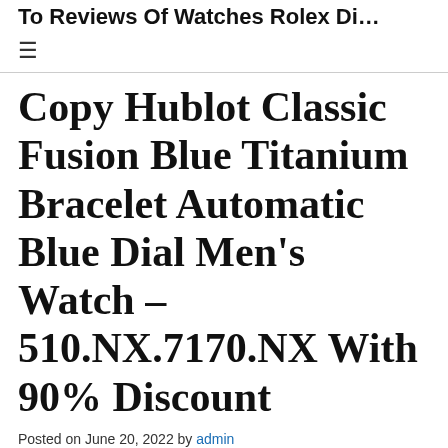To Reviews Of Watches Rolex Di…
Copy Hublot Classic Fusion Blue Titanium Bracelet Automatic Blue Dial Men's Watch – 510.NX.7170.NX With 90% Discount
Posted on June 20, 2022 by admin
Copy Hublot Classic Fusion Blue…